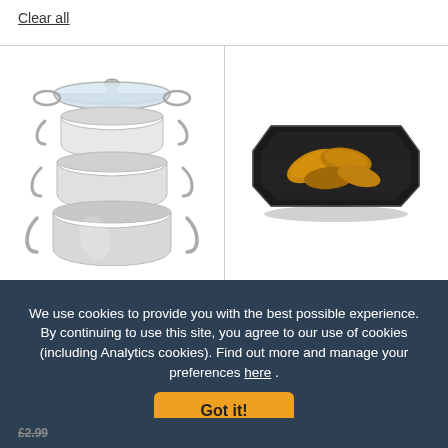Clear all
[Figure (photo): Stainless steel multi-tier steamer pot with glass lid and two side handles on each tier, three tiers total]
[Figure (photo): Black non-stick hexagonal baking/roasting tray with ridged surface containing roasted potato wedges]
We use cookies to provide you with the best possible experience. By continuing to use this site, you agree to our use of cookies (including Analytics cookies). Find out more and manage your preferences here .
Got it!